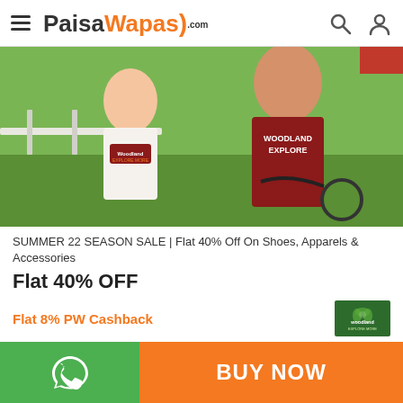PaisaWapas.com
[Figure (photo): Two people wearing Woodland branded t-shirts outdoors near grass and a bicycle. Man in maroon shirt reads WOODLAND EXPLORE.]
SUMMER 22 SEASON SALE | Flat 40% Off On Shoes, Apparels & Accessories
Flat 40% OFF
Flat 8% PW Cashback
[Figure (logo): Woodland brand logo — green background with white text and leaf design, reads EXPLORE MORE]
93 Til InfinitySpecifications:
[Figure (logo): WhatsApp icon on green button]
BUY NOW